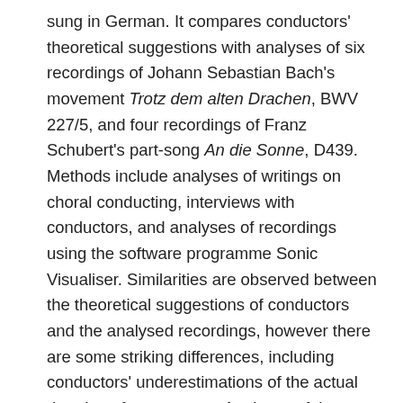sung in German. It compares conductors' theoretical suggestions with analyses of six recordings of Johann Sebastian Bach's movement Trotz dem alten Drachen, BWV 227/5, and four recordings of Franz Schubert's part-song An die Sonne, D439. Methods include analyses of writings on choral conducting, interviews with conductors, and analyses of recordings using the software programme Sonic Visualiser. Similarities are observed between the theoretical suggestions of conductors and the analysed recordings, however there are some striking differences, including conductors' underestimations of the actual duration of consonants. Analyses of the recordings reveal that initial consonants are nearly always anticipated (i.e., articulated ahead of the beat to which they are assigned). Exceptions to this concern the plosive [kʰ] and the second consonant of a cluster on occasion. Analyses of recordings also point to the impact on timing anticipation due to the consonant's